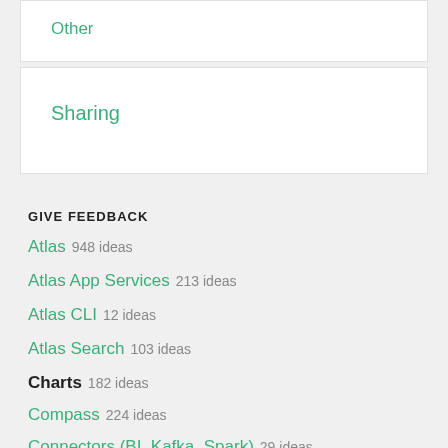Other
Sharing
GIVE FEEDBACK
Atlas   948 ideas
Atlas App Services   213 ideas
Atlas CLI   12 ideas
Atlas Search   103 ideas
Charts   182 ideas
Compass   224 ideas
Connectors (BI, Kafka, Spark)   29 ideas
Data Federation and Data Lake   ...